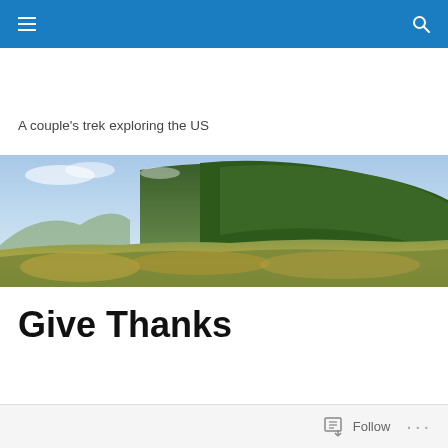A couple's trek exploring the US
[Figure (photo): Panoramic landscape photo of green forested rolling hills and mountains under a partly cloudy blue sky]
Give Thanks
Follow ...